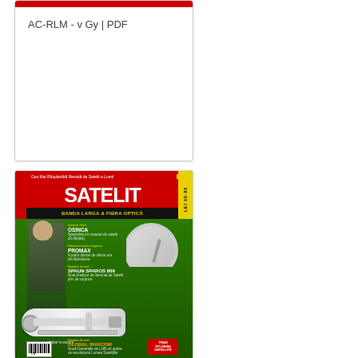[Figure (illustration): Document card with red bar at top and title text 'AC-RLM - v Gy | PDF']
AC-RLM - v Gy | PDF
[Figure (photo): Magazine cover of TELE-SATELIT - Cea Mai Raspandita Revista de Satelit a Lumii, featuring satellite dish, LNB device, articles about OSINCA specialist in satellite antennas from Beijing, PROMAX company review, SPAUN SPAROS 809 satellite signal analyzer, and GLOBAL INVACOM new generation optical LNBs]